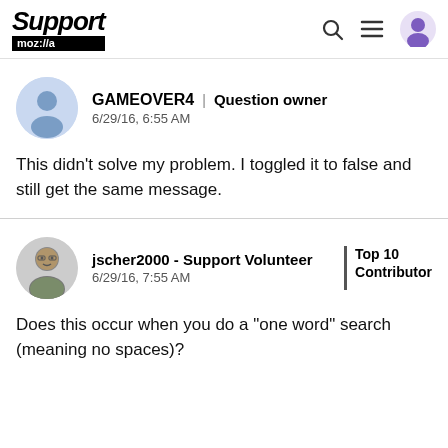Support moz://a
GAMEOVER4 | Question owner
6/29/16, 6:55 AM
This didn't solve my problem. I toggled it to false and still get the same message.
jscher2000 - Support Volunteer | Top 10 Contributor
6/29/16, 7:55 AM
Does this occur when you do a "one word" search (meaning no spaces)?